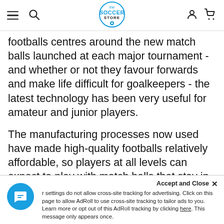The Soccer Store — navigation bar with hamburger menu, search, logo, user icon, cart icon
footballs centres around the new match balls launched at each major tournament - and whether or not they favour forwards and make life difficult for goalkeepers - the latest technology has been very useful for amateur and junior players.

The manufacturing processes now used have made high-quality footballs relatively affordable, so players at all levels can expect to play with match balls that stay in shape, don't absorb water and perform well on both grass and astro pitches. For the 2012/13 Season the Mitre V12 Delta Ball was introduced as the official ball of the Football
Accept and Close ×  Your settings do not allow cross-site tracking for advertising. Click on this page to allow AdRoll to use cross-site tracking to tailor ads to you. Learn more or opt out of this AdRoll tracking by clicking here. This message only appears once.